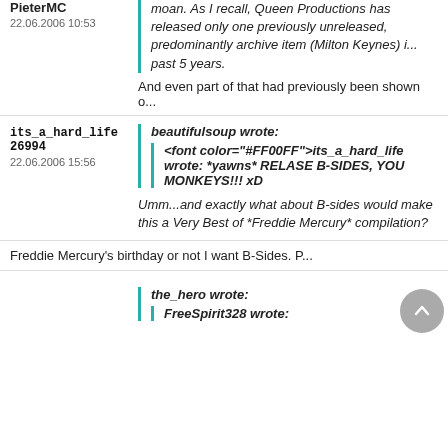moan. As I recall, Queen Productions has released only one previously unreleased, predominantly archive item (Milton Keynes) in the past 5 years.
And even part of that had previously been shown on...
its_a_hard_life 26994
22.06.2006 15:56
beautifulsoup wrote:
<font color="#FF00FF">its_a_hard_life wrote: *yawns* RELASE B-SIDES, YOU MONKEYS!!! xD
Umm...and exactly what about B-sides would make this a Very Best of *Freddie Mercury* compilation?
Freddie Mercury's birthday or not I want B-Sides. P...
the_hero wrote:
FreeSpirit328 wrote:
PieterMC
22.06.2006 10:53